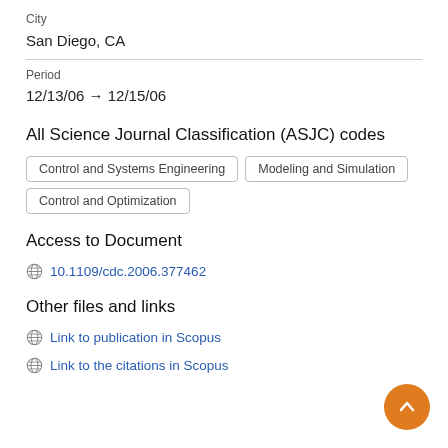City
San Diego, CA
Period
12/13/06 → 12/15/06
All Science Journal Classification (ASJC) codes
Control and Systems Engineering
Modeling and Simulation
Control and Optimization
Access to Document
10.1109/cdc.2006.377462
Other files and links
Link to publication in Scopus
Link to the citations in Scopus